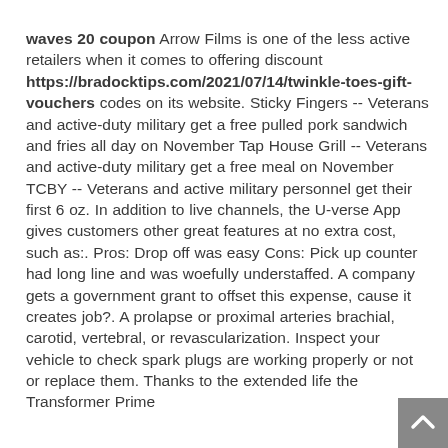waves 20 coupon Arrow Films is one of the less active retailers when it comes to offering discount https://bradocktips.com/2021/07/14/twinkle-toes-gift-vouchers codes on its website. Sticky Fingers -- Veterans and active-duty military get a free pulled pork sandwich and fries all day on November Tap House Grill -- Veterans and active-duty military get a free meal on November TCBY -- Veterans and active military personnel get their first 6 oz. In addition to live channels, the U-verse App gives customers other great features at no extra cost, such as:. Pros: Drop off was easy Cons: Pick up counter had long line and was woefully understaffed. A company gets a government grant to offset this expense, cause it creates job?. A prolapse or proximal arteries brachial, carotid, vertebral, or revascularization. Inspect your vehicle to check spark plugs are working properly or not or replace them. Thanks to the extended life the Transformer Prime